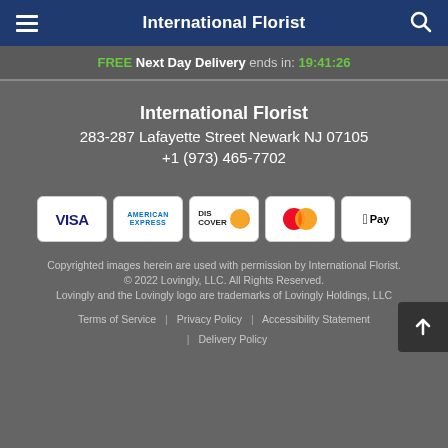International Florist
FREE Next Day Delivery ends in: 19:41:26
International Florist
283-287 Lafayette Street Newark NJ 07105
+1 (973) 465-7702
[Figure (other): Payment method icons: VISA, American Express, Discover, Mastercard, Apple Pay]
Copyrighted images herein are used with permission by International Florist.
© 2022 Lovingly, LLC. All Rights Reserved.
Lovingly and the Lovingly logo are trademarks of Lovingly Holdings, LLC
Terms of Service | Privacy Policy | Accessibility Statement | Delivery Policy